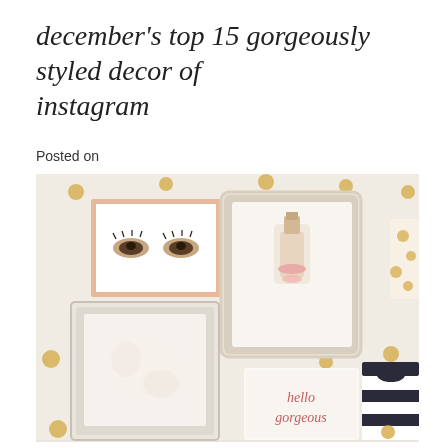december's top 15 gorgeously styled decor of instagram
Posted on
[Figure (photo): A styled gallery wall with various decorative frames on a cream/white wall with gold polka dot pattern. Frames include: a rose-gold framed print with illustrated eyes, a white ornate frame with floral design, a large white baroque-style frame with a ballet/fashion illustration, a card reading 'hello gorgeous' in script, a striped black and white item, and a partially visible polka-dot item on the right edge.]